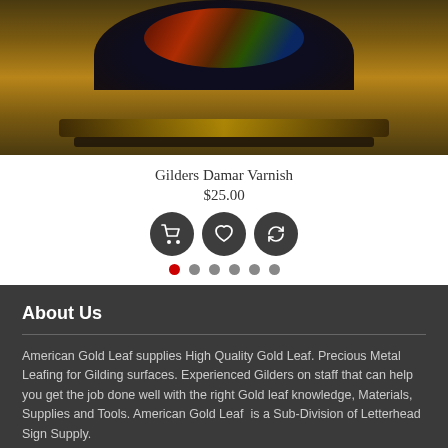[Figure (photo): Product photo of Gilders Damar Varnish in a decorative lacquered container with ornate painting on a dark background]
Gilders Damar Varnish
$25.00
[Figure (infographic): Three dark circular icon buttons: shopping cart, heart/wishlist, and refresh/compare icons]
[Figure (infographic): Navigation dots: one red active dot followed by five grey dots]
About Us
American Gold Leaf supplies High Quality Gold Leaf. Precious Metal Leafing for Gilding surfaces. Experienced Gilders on staff that can help you get the job done well with the right Gold leaf knowledge, Materials, Supplies and Tools. American Gold Leaf  is a Sub-Division of Letterhead Sign Supply.